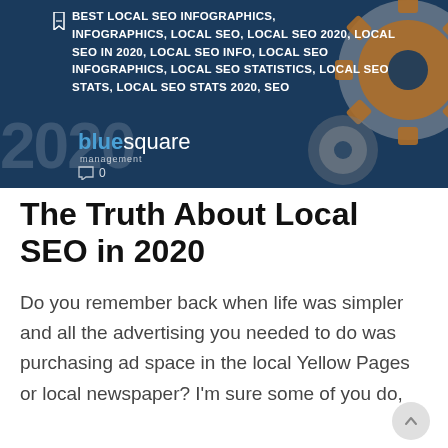[Figure (infographic): Hero banner with dark navy blue background, gear/cog wheel graphic in orange and grey on the right, '2020' text watermark, Blue Square Management logo, and tag labels listing SEO-related keywords]
BEST LOCAL SEO INFOGRAPHICS, INFOGRAPHICS, LOCAL SEO, LOCAL SEO 2020, LOCAL SEO IN 2020, LOCAL SEO INFO, LOCAL SEO INFOGRAPHICS, LOCAL SEO STATISTICS, LOCAL SEO STATS, LOCAL SEO STATS 2020, SEO
The Truth About Local SEO in 2020
Do you remember back when life was simpler and all the advertising you needed to do was purchasing ad space in the local Yellow Pages or local newspaper? I'm sure some of you do,